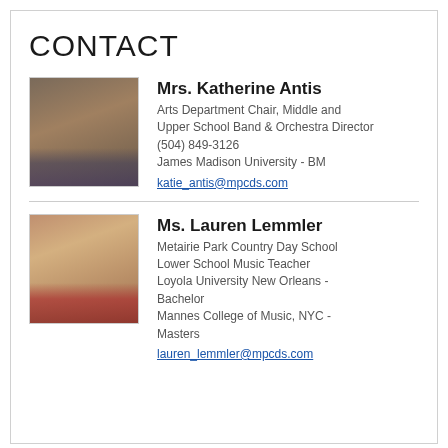CONTACT
[Figure (photo): Headshot photo of Mrs. Katherine Antis]
Mrs. Katherine Antis
Arts Department Chair, Middle and Upper School Band & Orchestra Director
(504) 849-3126
James Madison University - BM
katie_antis@mpcds.com
[Figure (photo): Headshot photo of Ms. Lauren Lemmler]
Ms. Lauren Lemmler
Metairie Park Country Day School Lower School Music Teacher
Loyola University New Orleans - Bachelor
Mannes College of Music, NYC - Masters
lauren_lemmler@mpcds.com